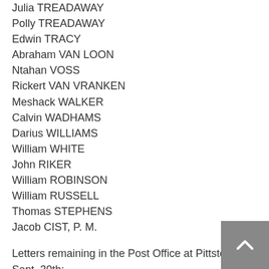Julia TREADAWAY
Polly TREADAWAY
Edwin TRACY
Abraham VAN LOON
Ntahan VOSS
Rickert VAN VRANKEN
Meshack WALKER
Calvin WADHAMS
Darius WILLIAMS
William WHITE
John RIKER
William ROBINSON
William RUSSELL
Thomas STEPHENS
Jacob CIST, P. M.
Letters remaining in the Post Office at Pittston, on Sept. 30th:
John CARY, Providence
Miner CARY
George D. CLARK